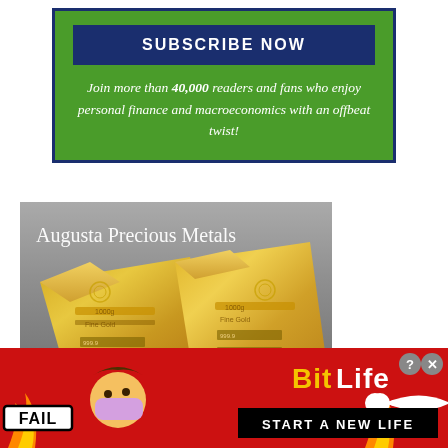[Figure (infographic): Green subscribe box with dark navy border. Contains a navy 'SUBSCRIBE NOW' button and italic text below reading: 'Join more than 40,000 readers and fans who enjoy personal finance and macroeconomics with an offbeat twist!']
[Figure (photo): Photo of two gold bars labeled 'Augusta Precious Metals' with text overlay. Gold bars have inscriptions '1000g Fine Gold', '999.9', and serial numbers like '30503' and '30506'.]
[Figure (infographic): BitLife advertisement banner with red background. Shows 'FAIL' stamp, cartoon emoji of person face-palming, flame graphics, sperm icon, 'BitLife' logo in yellow/white, and 'START A NEW LIFE' text on black bar. Has close/question buttons top right.]